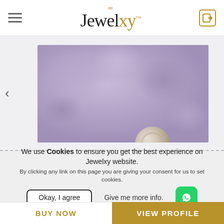Jewelxy™ — navigation header with hamburger menu and login icon
[Figure (photo): Product photo of a diamond/crystal ring on a purple blurred background, partially visible at bottom of frame]
We use Cookies to ensure you get the best experience on Jewelxy website. By clicking any link on this page you are giving your consent for us to set cookies.
Okay, I agree   Give me more info.
BUY NOW   VIEW PROFILE